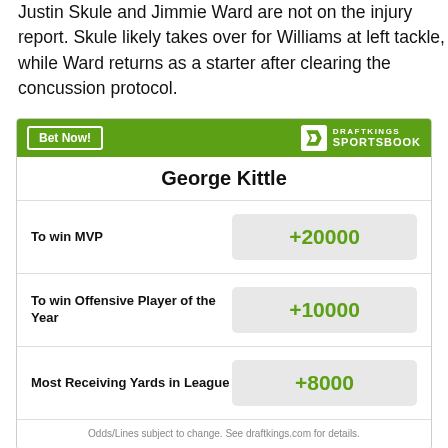Justin Skule and Jimmie Ward are not on the injury report. Skule likely takes over for Williams at left tackle, while Ward returns as a starter after clearing the concussion protocol.
|  | George Kittle |  |
| --- | --- | --- |
| To win MVP | +20000 |
| To win Offensive Player of the Year | +10000 |
| Most Receiving Yards in League | +8000 |
Odds/Lines subject to change. See draftkings.com for details.